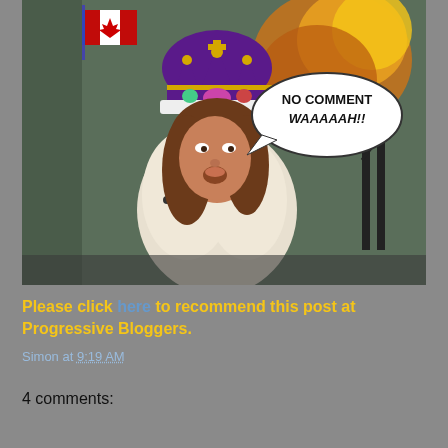[Figure (illustration): Political meme image: a woman wearing a royal purple and gold crown with a Canadian flag, wrapped in ermine robes, with a speech bubble reading 'NO COMMENT WAAAAAH!!' against a comic-book style burning industrial background.]
Please click here to recommend this post at Progressive Bloggers.
Simon at 9:19 AM
4 comments: